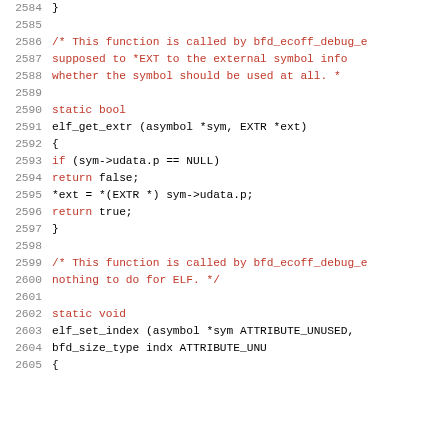[Figure (screenshot): Source code listing showing C code lines 2584–2605, with line numbers on the left in gray, keywords and comments in red, and identifiers in black/dark blue monospace font.]